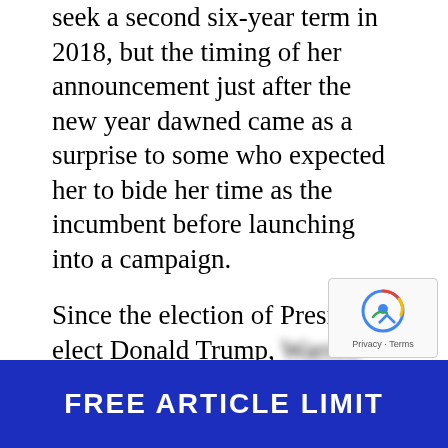seek a second six-year term in 2018, but the timing of her announcement just after the new year dawned came as a surprise to some who expected her to bide her time as the incumbent before launching into a campaign.
Since the election of President-elect Donald Trump, [blurred text: Warren has been one of the loudest national critics of the incoming president and the administration he has been assembling since November. This included Warren plans to head a rally at Faneuil Hall to protest Trump and the Republican Congress for their plan to dismantle the Affordable Care Act, which the GOP blames for rising health-care premiums.]
FREE ARTICLE LIMIT